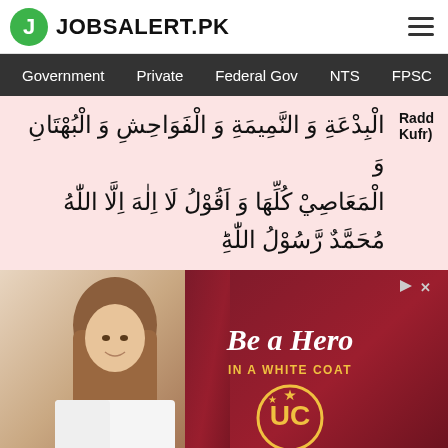JOBSALERT.PK
Government  Private  Federal Gov  NTS  FPSC
الْبِدْعَةِ وَ النَّمِيمَةِ وَ الْفَوَاحِشِ وَ الْبُهْتَانِ وَ الْمَعَاصِيْ كُلِّهَا وَ اَقُوْلُ لَا اِلٰهَ اِلَّا اللّٰهُ مُحَمَّدٌ رَّسُوْلُ اللّٰهِؕ    Radd Kufr)
[Figure (photo): University of Charleston School of Pharmacy advertisement showing a female student in a white coat with text 'Be a Hero IN A WHITE COAT' and the UC logo]